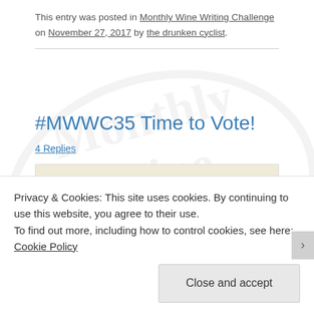This entry was posted in Monthly Wine Writing Challenge on November 27, 2017 by the drunken cyclist.
#MWWC35 Time to Vote!
4 Replies
#MWWC35
Privacy & Cookies: This site uses cookies. By continuing to use this website, you agree to their use.
To find out more, including how to control cookies, see here: Cookie Policy
Close and accept